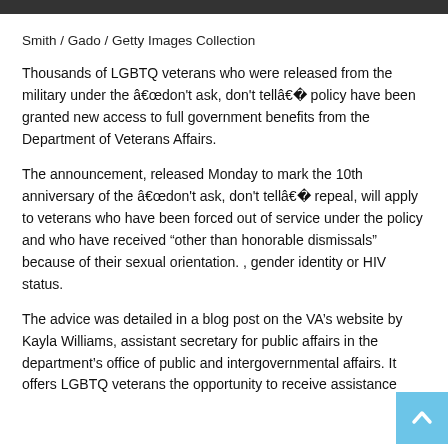Smith / Gado / Getty Images Collection
Thousands of LGBTQ veterans who were released from the military under the â€œdon’t ask, don’t tellâ€� policy have been granted new access to full government benefits from the Department of Veterans Affairs.
The announcement, released Monday to mark the 10th anniversary of the â€œdon’t ask, don’t tellâ€� repeal, will apply to veterans who have been forced out of service under the policy and who have received “other than honorable dismissals” because of their sexual orientation. , gender identity or HIV status.
The advice was detailed in a blog post on the VA’s website by Kayla Williams, assistant secretary for public affairs in the department’s office of public and intergovernmental affairs. It offers LGBTQ veterans the opportunity to receive assistance